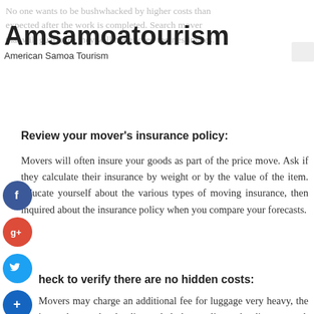No one wants to be bushwhacked by higher costs than expected after the work is completed. Search mover that will guarantee they will not exceed their estimates.
Amsamoatourism
American Samoa Tourism
Review your mover's insurance policy:
Movers will often insure your goods as part of the price move. Ask if they calculate their insurance by weight or by the value of the item. Educate yourself about the various types of moving insurance, then inquired about the insurance policy when you compare your forecasts.
Check to verify there are no hidden costs:
Movers may charge an additional fee for luggage very heavy, the items that need to be dismantled, the gas line to be disconnected, traveling up and down a flight of stairs, and driveways that are too narrow. Discuss with your mover about this problem when you receive